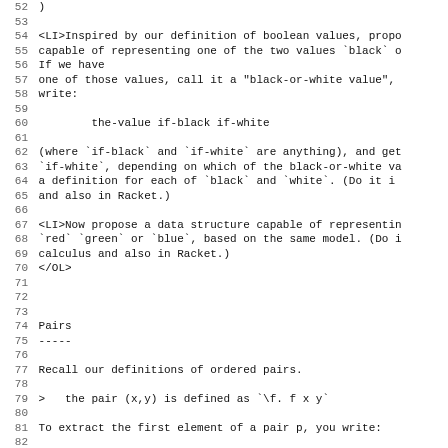52 )
53
54 <LI>Inspired by our definition of boolean values, propo
55 capable of representing one of the two values `black` o
56 If we have
57 one of those values, call it a "black-or-white value",
58 write:
59
60         the-value if-black if-white
61
62 (where `if-black` and `if-white` are anything), and get
63 `if-white`, depending on which of the black-or-white va
64 a definition for each of `black` and `white`. (Do it i
65 and also in Racket.)
66
67 <LI>Now propose a data structure capable of representin
68 `red` `green` or `blue`, based on the same model. (Do i
69 calculus and also in Racket.)
70 </OL>
71
72
73
74 Pairs
75 -----
76
77 Recall our definitions of ordered pairs.
78
79 >   the pair (x,y) is defined as `\f. f x y`
80
81 To extract the first element of a pair p, you write:
82
83         p (\fst. \snd. fst)
Pairs